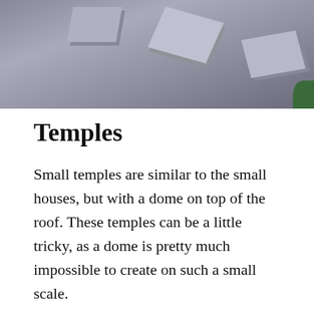[Figure (illustration): Top portion of a 3D rendered image showing geometric cube-like structures resembling buildings or temple blocks on a grey surface, with a small green patch in the lower right corner.]
Temples
Small temples are similar to the small houses, but with a dome on top of the roof. These temples can be a little tricky, as a dome is pretty much impossible to create on such a small scale.
Large temples are just big versions of the small temples, although they often have a walkway at the front or all around the temple. These walkways are often covered and supported by arches.